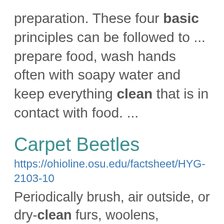preparation. These four basic principles can be followed to ... prepare food, wash hands often with soapy water and keep everything clean that is in contact with food. ...
Carpet Beetles
https://ohioline.osu.edu/factsheet/HYG-2103-10
Periodically brush, air outside, or dry-clean furs, woolens, blankets, etc. Clean rugs, carpets, draperies, ... two cubic feet of container space. Be sure that all cloth goods are dry-cleaned, washed, pressed with ... clothing, and blankets should be cleaned and immediately stored in tightly